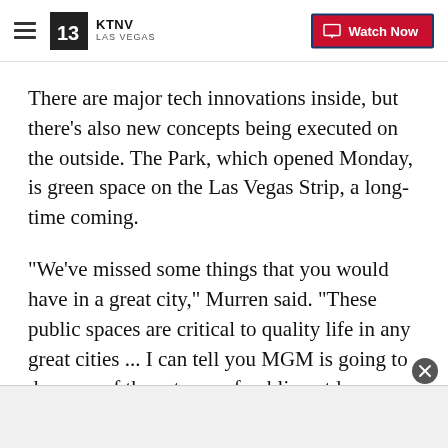KTNV LAS VEGAS — Watch Now
There are major tech innovations inside, but there's also new concepts being executed on the outside. The Park, which opened Monday, is green space on the Las Vegas Strip, a long-time coming.
"We've missed some things that you would have in a great city," Murren said. "These public spaces are critical to quality life in any great cities ... I can tell you MGM is going to do more of these types of public outdoor venues because we know that's what the consumer wants."